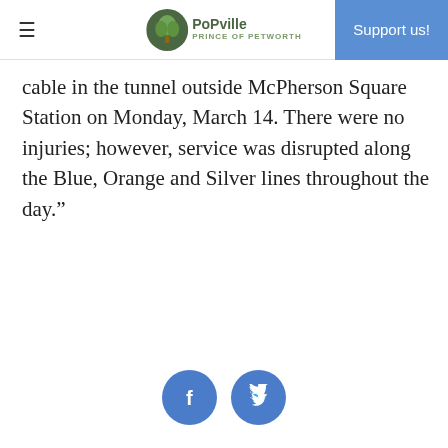PoPville — Support us!
cable in the tunnel outside McPherson Square Station on Monday, March 14. There were no injuries; however, service was disrupted along the Blue, Orange and Silver lines throughout the day."
[Figure (other): Social sharing icons: Facebook and Twitter circular buttons]